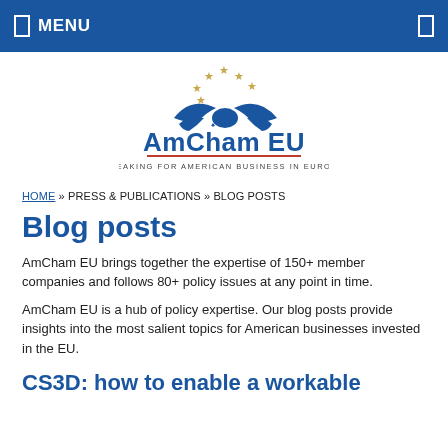MENU
[Figure (logo): AmCham EU logo — eagle with stars above, bold text 'AmCham EU', red underline, and tagline 'SPEAKING FOR AMERICAN BUSINESS IN EUROPE']
HOME » PRESS & PUBLICATIONS » BLOG POSTS
Blog posts
AmCham EU brings together the expertise of 150+ member companies and follows 80+ policy issues at any point in time.
AmCham EU is a hub of policy expertise. Our blog posts provide insights into the most salient topics for American businesses invested in the EU.
CS3D: how to enable a workable